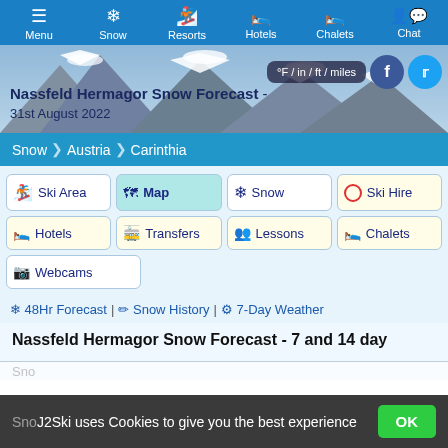Menu | Snow | Resorts | Hotels | Chalets | Chat
Nassfeld Hermagor Snow Forecast - 31st August 2022
°F / in / ft / miles
Snow > Austria > Carinthia
Ski Area
Map
Snow
Ski Hire
Hotels
Transfers
Lessons
Chalets
Webcams
❄ 48Hr Forecast | 📊 Snow History | ⚙ 7-Day Weather
Nassfeld Hermagor Snow Forecast - 7 and 14 day
J2Ski uses Cookies to give you the best experience